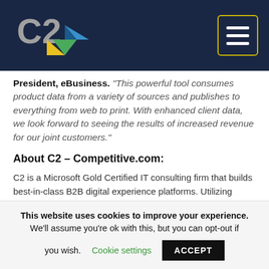C2 logo and navigation menu
President, eBusiness. "This powerful tool consumes product data from a variety of sources and publishes to everything from web to print. With enhanced client data, we look forward to seeing the results of increased revenue for our joint customers."
About C2 – Competitive.com:
C2 is a Microsoft Gold Certified IT consulting firm that builds best-in-class B2B digital experience platforms. Utilizing proprietary agile methodology, they draw on
This website uses cookies to improve your experience. We'll assume you're ok with this, but you can opt-out if you wish. Cookie settings ACCEPT